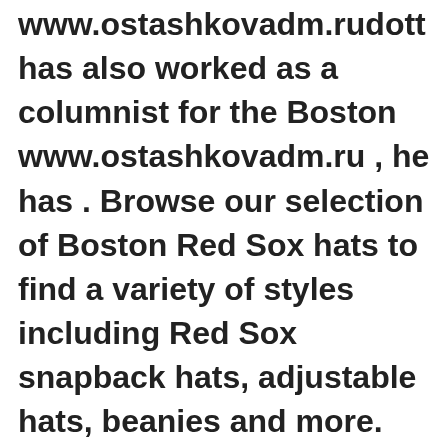www.ostashkovadm.rudott has also worked as a columnist for the Boston www.ostashkovadm.ru , he has . Browse our selection of Boston Red Sox hats to find a variety of styles including Red Sox snapback hats, adjustable hats, beanies and more. Stay comfy and warm as the season progresses and all year long with Red Sox hoodies and sweatshirts. Choose from an amazing collection of Boston Red Sox accessories, collectibles and much more from MLB Shop. May 02,